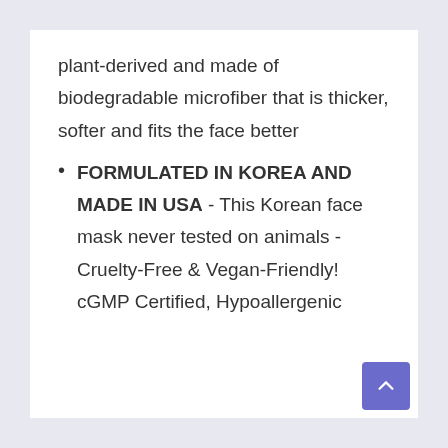plant-derived and made of biodegradable microfiber that is thicker, softer and fits the face better
FORMULATED IN KOREA AND MADE IN USA - This Korean face mask never tested on animals - Cruelty-Free & Vegan-Friendly! cGMP Certified, Hypoallergenic